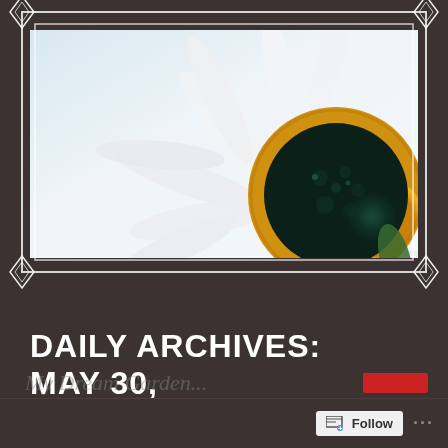[Figure (photo): Close-up macro photo of a white daisy flower viewed from below against a pale blue-white sky background. The dark teal/green center with yellow ring is prominent on the right side. White petals radiate outward. A decorative white rectangular frame with corner diamond ornaments surrounds the photo.]
DAILY ARCHIVES: MAY 30, 2015
Follow ...